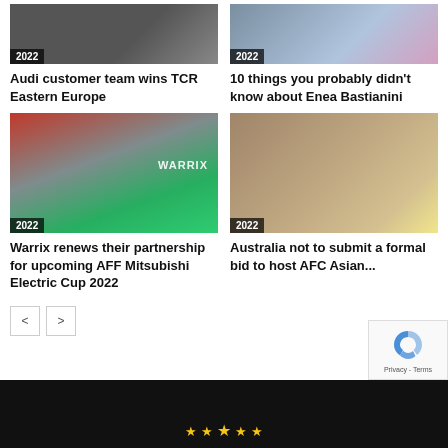[Figure (photo): Car racing photo with '2022' badge]
Audi customer team wins TCR Eastern Europe
[Figure (photo): Motorcycle racing photo with '2022' badge]
10 things you probably didn't know about Enea Bastianini
[Figure (photo): Soccer match photo with 'WARRIX' branding and '2022' badge]
Warrix renews their partnership for upcoming AFF Mitsubishi Electric Cup 2022
[Figure (photo): AFC Asian Cup trophy photo with '2022' badge]
Australia not to submit a formal bid to host AFC Asian...
[Figure (logo): Footer with stars and partial logo on black background]
[Figure (other): reCAPTCHA badge with 'Privacy - Terms' text]